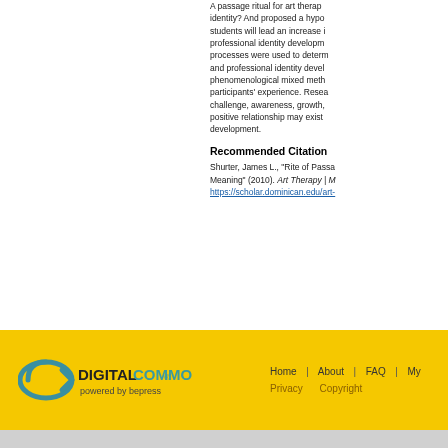A passage ritual for art therapy professional identity? And proposed a hypothesis that art therapy students will lead an increase in art therapy professional identity development. Mixed method processes were used to determine the relationship and professional identity development using a phenomenological mixed methods design to capture participants' experience. Research themes included challenge, awareness, growth, and support indicating a positive relationship may exist between ritual and development.
Recommended Citation
Shurter, James L., "Rite of Passa... Meaning" (2010). Art Therapy | M... https://scholar.dominican.edu/art-...
[Figure (logo): Digital Commons powered by bepress logo — elliptical arrow icon in teal/blue beside DIGITALCOMMONS in dark/teal text and 'powered by bepress' in smaller text below]
Home | About | FAQ | My... Privacy Copyright